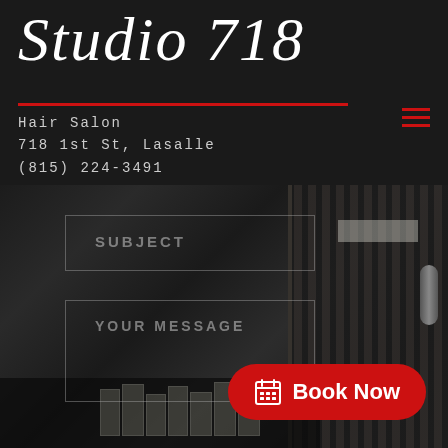Studio 718
Hair Salon
718 1st St, Lasalle
(815) 224-3491
[Figure (screenshot): Contact form with SUBJECT and YOUR MESSAGE fields over a dark salon interior background photo]
SUBJECT
YOUR MESSAGE
Book Now